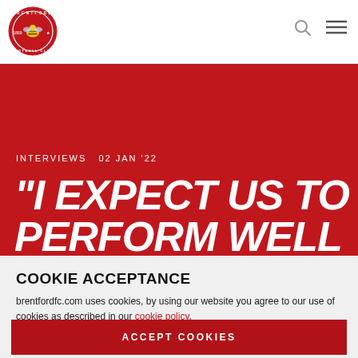[Figure (logo): Brentford Football Club circular crest logo with bee in center]
INTERVIEWS  02 JAN '22
"I EXPECT US TO PERFORM WELL
COOKIE ACCEPTANCE
brentfordfc.com uses cookies, by using our website you agree to our use of cookies as described in our cookie policy.
ACCEPT COOKIES